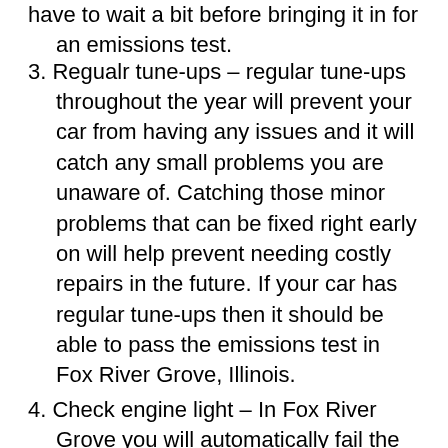have to wait a bit before bringing it in for an emissions test.
3. Regualr tune-ups – regular tune-ups throughout the year will prevent your car from having any issues and it will catch any small problems you are unaware of. Catching those minor problems that can be fixed right early on will help prevent needing costly repairs in the future. If your car has regular tune-ups then it should be able to pass the emissions test in Fox River Grove, Illinois.
4. Check engine light – In Fox River Grove you will automatically fail the emissions test if your check engine light is on. The check engine light cannot be on and has to be working. If it's broken then you'll most likely have to get it fixed and bring your car back for another emissions test. If you notice your engine light is on, bring it to your local auto shop in the Fox River Grove area and have it repaired.